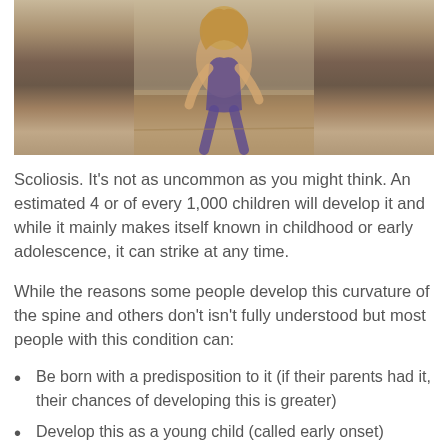[Figure (photo): Person performing a yoga or stretching pose, bending forward, with long hair and purple/blue patterned pants, on a wooden floor background.]
Scoliosis. It’s not as uncommon as you might think. An estimated 4 or of every 1,000 children will develop it and while it mainly makes itself known in childhood or early adolescence, it can strike at any time.
While the reasons some people develop this curvature of the spine and others don’t isn’t fully understood but most people with this condition can:
Be born with a predisposition to it (if their parents had it, their chances of developing this is greater)
Develop this as a young child (called early onset)
Develop scoliosis as a teen (called adolescent